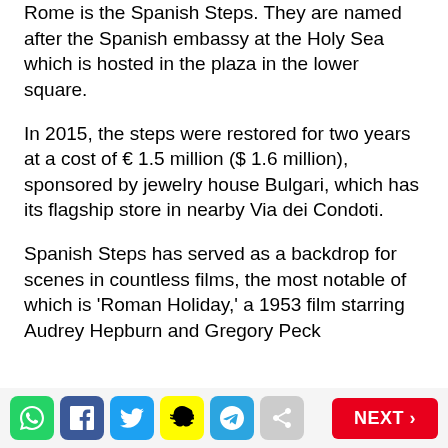Rome is the Spanish Steps. They are named after the Spanish embassy at the Holy Sea which is hosted in the plaza in the lower square.
In 2015, the steps were restored for two years at a cost of € 1.5 million ($ 1.6 million), sponsored by jewelry house Bulgari, which has its flagship store in nearby Via dei Condoti.
Spanish Steps has served as a backdrop for scenes in countless films, the most notable of which is 'Roman Holiday,' a 1953 film starring Audrey Hepburn and Gregory Peck
Social share icons and NEXT button